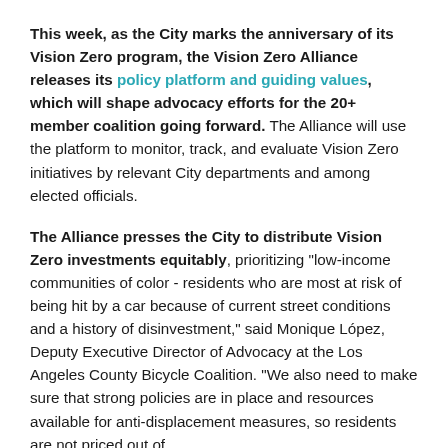This week, as the City marks the anniversary of its Vision Zero program, the Vision Zero Alliance releases its policy platform and guiding values, which will shape advocacy efforts for the 20+ member coalition going forward. The Alliance will use the platform to monitor, track, and evaluate Vision Zero initiatives by relevant City departments and among elected officials.
The Alliance presses the City to distribute Vision Zero investments equitably, prioritizing "low-income communities of color - residents who are most at risk of being hit by a car because of current street conditions and a history of disinvestment," said Monique López, Deputy Executive Director of Advocacy at the Los Angeles County Bicycle Coalition. "We also need to make sure that strong policies are in place and resources available for anti-displacement measures, so residents are not priced out of their neighborhoods or communities."